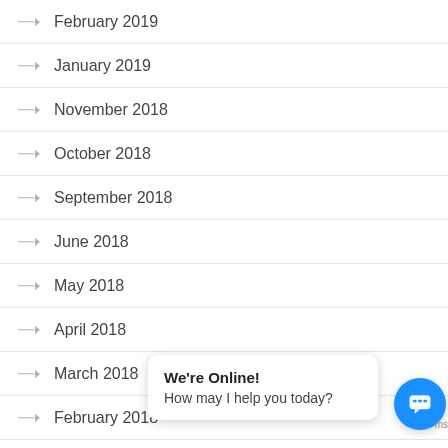February 2019
January 2019
November 2018
October 2018
September 2018
June 2018
May 2018
April 2018
March 2018
February 2018
[Figure (screenshot): Live chat popup with 'We're Online! How may I help you today?' message and blue chat button]